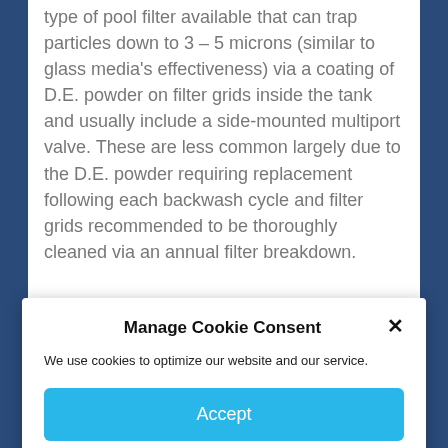type of pool filter available that can trap particles down to 3 – 5 microns (similar to glass media's effectiveness) via a coating of D.E. powder on filter grids inside the tank and usually include a side-mounted multiport valve. These are less common largely due to the D.E. powder requiring replacement following each backwash cycle and filter grids recommended to be thoroughly cleaned via an annual filter breakdown.
Manage Cookie Consent
We use cookies to optimize our website and our service.
Accept